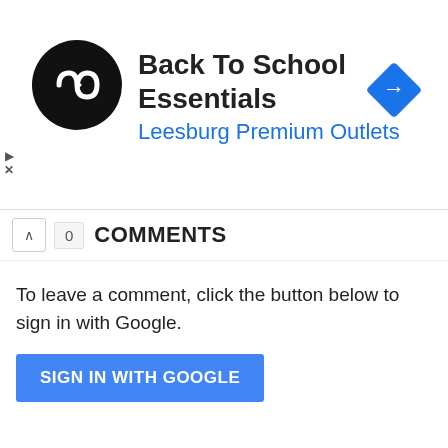[Figure (screenshot): Advertisement banner for Back To School Essentials at Leesburg Premium Outlets. Shows a black circular logo with infinity-like symbol on left, bold title text, blue subtitle, and a blue diamond navigation icon on the right. Small play and X controls on far left.]
0 COMMENTS
To leave a comment, click the button below to sign in with Google.
SIGN IN WITH GOOGLE